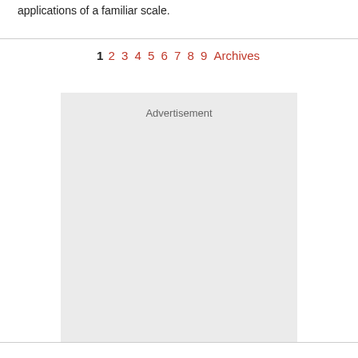applications of a familiar scale.
1 2 3 4 5 6 7 8 9 Archives
[Figure (other): Advertisement placeholder box with light gray background and the label 'Advertisement' at the top center.]